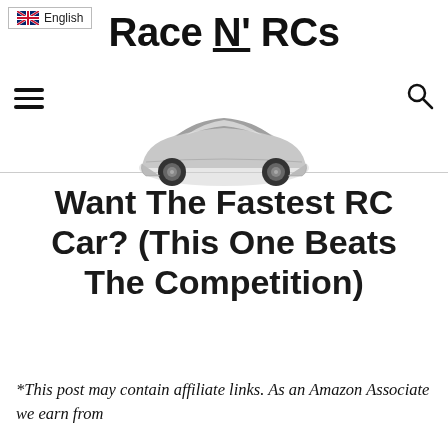Race N' RCs
Want The Fastest RC Car? (This One Beats The Competition)
*This post may contain affiliate links. As an Amazon Associate we earn from